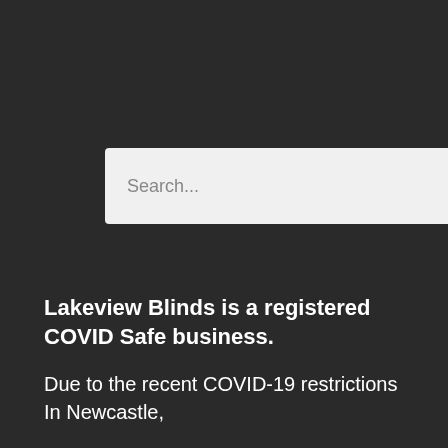[Figure (screenshot): Search input box with placeholder text 'Search...' and a search icon (magnifying glass) to the right, on a dark background.]
Lakeview Blinds is a registered COVID Safe business.
Due to the recent COVID-19 restrictions In Newcastle,